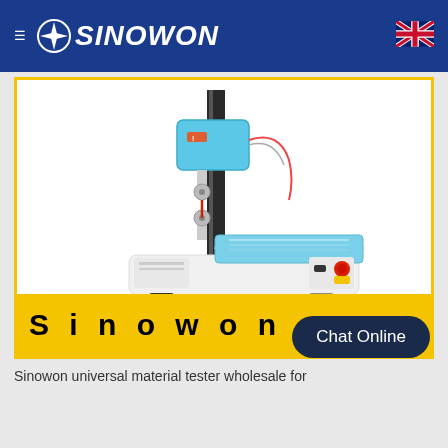SINOWON
[Figure (photo): Sinowon universal material tester machine — a white and blue laboratory testing instrument with a vertical column, blue sensor/load cell unit at top, adjustable clamps, and a flat blue platform base with control panel showing red emergency stop button]
Sinowon
Chat Online
Sinowon universal material tester wholesale for